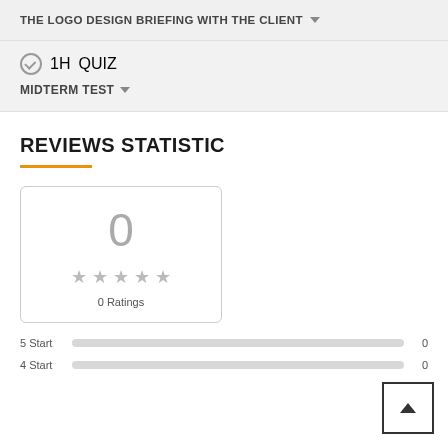THE LOGO DESIGN BRIEFING WITH THE CLIENT
1H  QUIZ  MIDTERM TEST
REVIEWS STATISTIC
[Figure (other): Rating box showing 0 with 5 empty stars and 0 Ratings text]
5 Start  0
4 Start  0